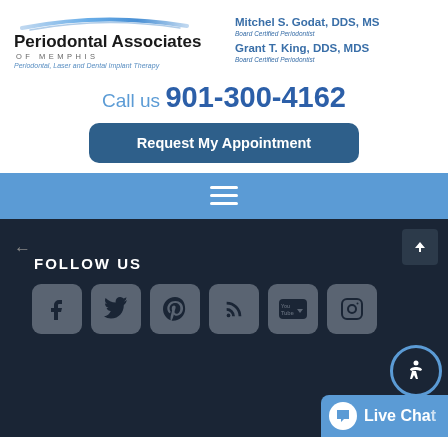[Figure (logo): Periodontal Associates of Memphis logo with arc graphic above text]
Mitchel S. Godat, DDS, MS
Board Certified Periodontist
Grant T. King, DDS, MDS
Board Certified Periodontist
Call us 901-300-4162
Request My Appointment
[Figure (screenshot): Blue navigation bar with hamburger menu icon]
FOLLOW US
[Figure (infographic): Social media icons: Facebook, Twitter, Pinterest, RSS, YouTube, Instagram]
Live Chat